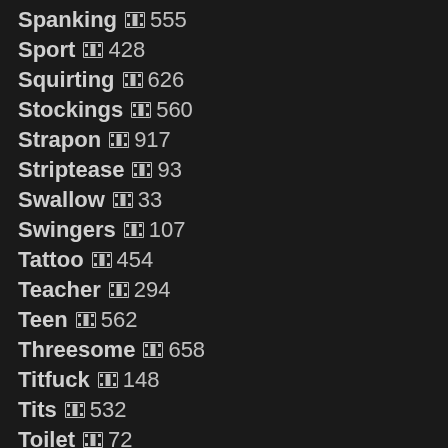Spanking 555
Sport 428
Squirting 626
Stockings 560
Strapon 917
Striptease 93
Swallow 33
Swingers 107
Tattoo 454
Teacher 294
Teen 562
Threesome 658
Titfuck 148
Tits 532
Toilet 72
Toys 647
Uniform 463